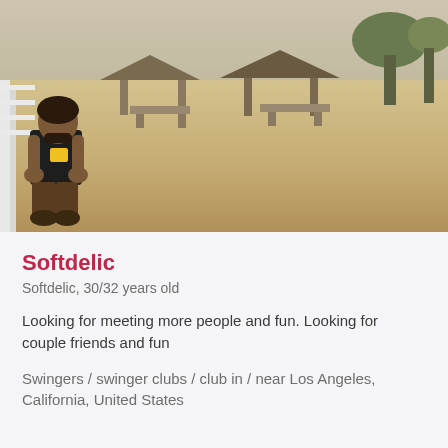[Figure (photo): A person sitting on steps near a beach area with sand, thatched-roof structures, and trees in the background under a hazy sky.]
Softdelic
Softdelic, 30/32 years old
Looking for meeting more people and fun. Looking for couple friends and fun
Swingers / swinger clubs / club in / near Los Angeles, California, United States